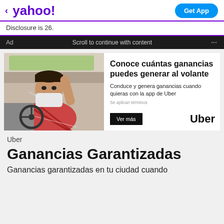< yahoo!   Get App
Disclosure is 26.
Ad   Scroll to continue with content   ...
[Figure (photo): Advertisement photo showing a man wearing a mask sitting in a car driver's seat, turning toward the camera. Uber ad. Headline: Conoce cuántas ganancias puedes generar al volante. Subtext: Conduce y genera ganancias cuando quieras con la app de Uber. Se aplican términos. Button: Ver más. Logo: Uber.]
Uber
Ganancias Garantizadas
Ganancias garantizadas en tu ciudad cuando